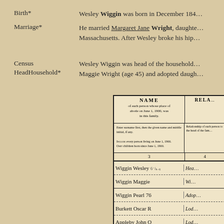Birth*   Wesley Wiggin was born in December 184...
Marriage*   He married Margaret Jane Wright, daughter... Massachusetts. After Wesley broke his hip...
Census HeadHousehold*   Wesley Wiggin was head of the household... Maggie Wright (age 45) and adopted daugh...
[Figure (table-as-image): 1900 US Census form header showing NAME and RELATION columns with printed instructions and handwritten entries: Wiggin Wesley (Head), Wiggin Maggie (Wife), Wiggin Pearl 76 (Adopted Daughter), Burkett Oscar R (Lodger), Appleby John O (Lodger)]